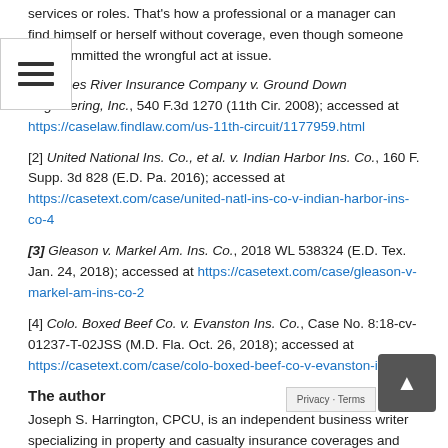services or roles. That's how a professional or a manager can find himself or herself without coverage, even though someone else committed the wrongful act at issue.
[1] James River Insurance Company v. Ground Down Engineering, Inc., 540 F.3d 1270 (11th Cir. 2008); accessed at https://caselaw.findlaw.com/us-11th-circuit/1177959.html
[2] United National Ins. Co., et al. v. Indian Harbor Ins. Co., 160 F. Supp. 3d 828 (E.D. Pa. 2016); accessed at https://casetext.com/case/united-natl-ins-co-v-indian-harbor-ins-co-4
[3] Gleason v. Markel Am. Ins. Co., 2018 WL 538324 (E.D. Tex. Jan. 24, 2018); accessed at https://casetext.com/case/gleason-v-markel-am-ins-co-2
[4] Colo. Boxed Beef Co. v. Evanston Ins. Co., Case No. 8:18-cv-01237-T-02JSS (M.D. Fla. Oct. 26, 2018); accessed at https://casetext.com/case/colo-boxed-beef-co-v-evanston-ins-co
The author
Joseph S. Harrington, CPCU, is an independent business writer specializing in property and casualty insurance coverages and operations. For 21 years, Joe was the communications director for the